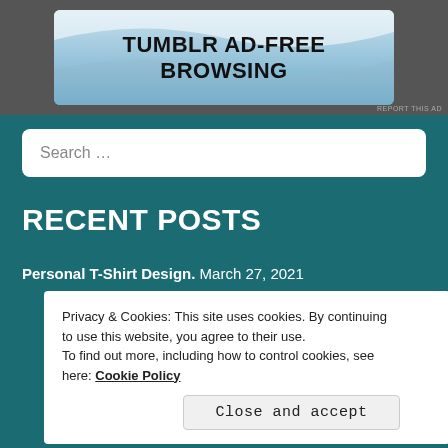[Figure (illustration): Tumblr ad banner with text 'TUMBLR AD-FREE BROWSING' on a light blue wavy background]
REPORT THIS AD
Search ...
RECENT POSTS
Personal T-Shirt Design. March 27, 2021
Privacy & Cookies: This site uses cookies. By continuing to use this website, you agree to their use.
To find out more, including how to control cookies, see here: Cookie Policy
Close and accept
REPORT THIS AD